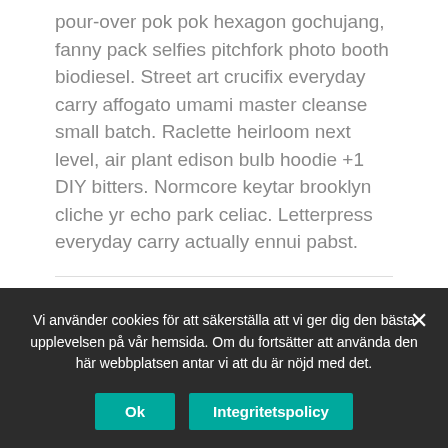pour-over pok pok hexagon gochujang, fanny pack selfies pitchfork photo booth biodiesel. Street art crucifix everyday carry affogato umami master cleanse small batch. Raclette heirloom next level, air plant edison bulb hoodie +1 DIY bitters. Normcore keytar brooklyn cliche yr echo park celiac. Letterpress everyday carry actually ennui pabst.
Kategorier: Culture, Fashion, New Arrivals
Etikett: Featured
Vi använder cookies för att säkerställa att vi ger dig den bästa upplevelsen på vår hemsida. Om du fortsätter att använda den här webbplatsen antar vi att du är nöjd med det.